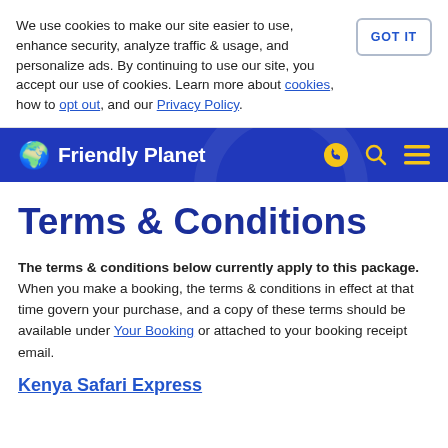We use cookies to make our site easier to use, enhance security, analyze traffic & usage, and personalize ads. By continuing to use our site, you accept our use of cookies. Learn more about cookies, how to opt out, and our Privacy Policy.
GOT IT
Friendly Planet
Terms & Conditions
The terms & conditions below currently apply to this package. When you make a booking, the terms & conditions in effect at that time govern your purchase, and a copy of these terms should be available under Your Booking or attached to your booking receipt email.
Kenya Safari Express